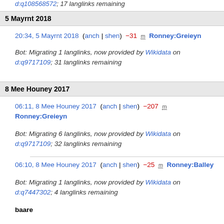d:q108568572; 17 langlinks remaining
5 Mayrnt 2018
20:34, 5 Mayrnt 2018 (anch | shen) −31 m Ronney:Greieyn
Bot: Migrating 1 langlinks, now provided by Wikidata on d:q9717109; 31 langlinks remaining
8 Mee Houney 2017
06:11, 8 Mee Houney 2017 (anch | shen) −207 m Ronney:Greieyn
Bot: Migrating 6 langlinks, now provided by Wikidata on d:q9717109; 32 langlinks remaining
06:10, 8 Mee Houney 2017 (anch | shen) −25 m Ronney:Balley
Bot: Migrating 1 langlinks, now provided by Wikidata on d:q7447302; 4 langlinks remaining
baare